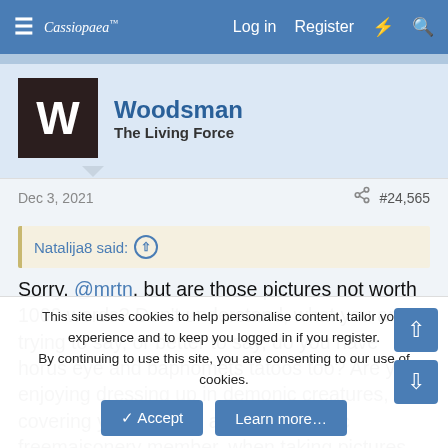≡  Cassiopaea  Log in  Register  ⚡  🔍
Woodsman
The Living Force
Dec 3, 2021  #24,565
Natalija8 said: ↑
Sorry, @mrtn, but are those pictures not worth 1000 words? Don't understand, what you are trying to say, or better to say, do you have horus eye and baphomets tatoos too? Are you enjoying dressing up in demonic creatures, covering your eye, as a sign of satanic freemaisonery member, when taking pictures for social
This site uses cookies to help personalise content, tailor your experience and to keep you logged in if you register.
By continuing to use this site, you are consenting to our use of cookies.
✓ Accept   Learn more…